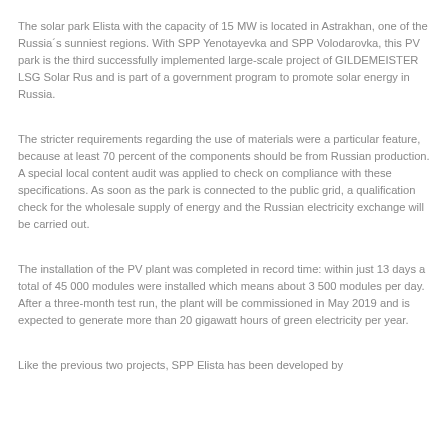The solar park Elista with the capacity of 15 MW is located in Astrakhan, one of the Russia´s sunniest regions. With SPP Yenotayevka and SPP Volodarovka, this PV park is the third successfully implemented large-scale project of GILDEMEISTER LSG Solar Rus and is part of a government program to promote solar energy in Russia.
The stricter requirements regarding the use of materials were a particular feature, because at least 70 percent of the components should be from Russian production. A special local content audit was applied to check on compliance with these specifications. As soon as the park is connected to the public grid, a qualification check for the wholesale supply of energy and the Russian electricity exchange will be carried out.
The installation of the PV plant was completed in record time: within just 13 days a total of 45 000 modules were installed which means about 3 500 modules per day. After a three-month test run, the plant will be commissioned in May 2019 and is expected to generate more than 20 gigawatt hours of green electricity per year.
Like the previous two projects, SPP Elista has been developed by